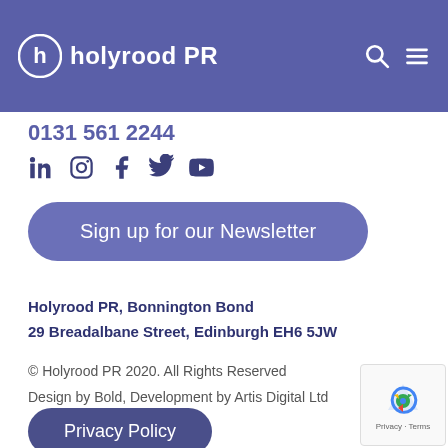holyrood PR
0131 561 2244
[Figure (other): Social media icons: LinkedIn, Instagram, Facebook, Twitter, YouTube]
Sign up for our Newsletter
Holyrood PR, Bonnington Bond
29 Breadalbane Street, Edinburgh EH6 5JW
© Holyrood PR 2020. All Rights Reserved
Design by Bold, Development by Artis Digital Ltd
Privacy Policy